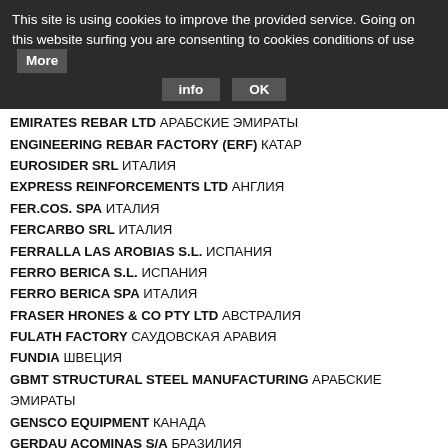This site is using cookies to improve the provided service. Going on this website surfing you are consenting to cookies conditions of use  More  info  OK
EMIRATES REBAR LTD АРАБСКИЕ ЭМИРАТЫ
ENGINEERING REBAR FACTORY (ERF) КАТАР
EUROSIDER SRL ИТАЛИЯ
EXPRESS REINFORCEMENTS LTD АНГЛИЯ
FER.COS. SPA ИТАЛИЯ
FERCARBO SRL ИТАЛИЯ
FERRALLA LAS AROBIAS S.L. ИСПАНИЯ
FERRO BERICA S.L. ИСПАНИЯ
FERRO BERICA SPA ИТАЛИЯ
FRASER HRONES & CO PTY LTD АВСТРАЛИЯ
FULATH FACTORY САУДОВСКАЯ АРАВИЯ
FUNDIA ШВЕЦИЯ
GBMT STRUCTURAL STEEL MANUFACTURING АРАБСКИЕ ЭМИРАТЫ
GENSCO EQUIPMENT КАНАДА
GERDAU ACOMINAS S/A БРАЗИЛИЯ
GERRY O'SHAUGHNESSY ENGG.LTD ИРЛАНДИЯ
GROUPE BOUYGUES ФРАНЦИЯ